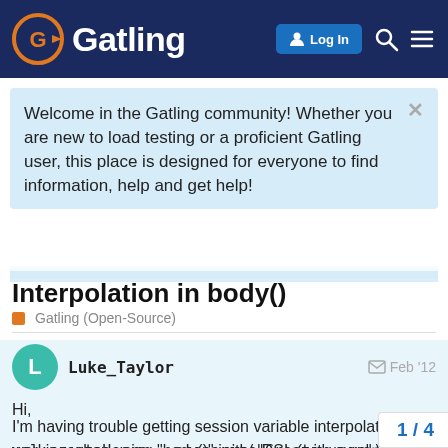Gatling — Log In
Welcome in the Gatling community! Whether you are new to load testing or a proficient Gatling user, this place is designed for everyone to find information, help and get help!
Interpolation in body()
Gatling (Open-Source)
Luke_Taylor  Feb '12
Hi,
I'm having trouble getting session variable interpolation working when using "body()" in the DSL (with curren...
val createUsers = scenario("Create user")